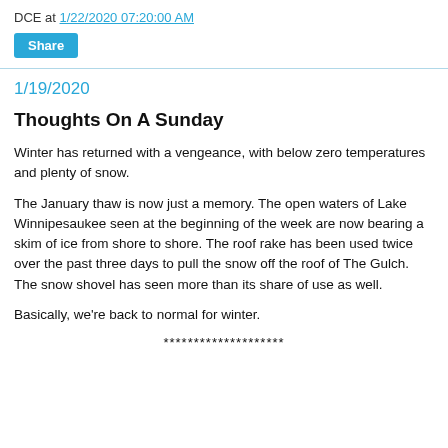DCE at 1/22/2020 07:20:00 AM
[Figure (other): Share button (cyan/teal rounded rectangle)]
1/19/2020
Thoughts On A Sunday
Winter has returned with a vengeance, with below zero temperatures and plenty of snow.
The January thaw is now just a memory. The open waters of Lake Winnipesaukee seen at the beginning of the week are now bearing a skim of ice from shore to shore. The roof rake has been used twice over the past three days to pull the snow off the roof of The Gulch. The snow shovel has seen more than its share of use as well.
Basically, we're back to normal for winter.
********************